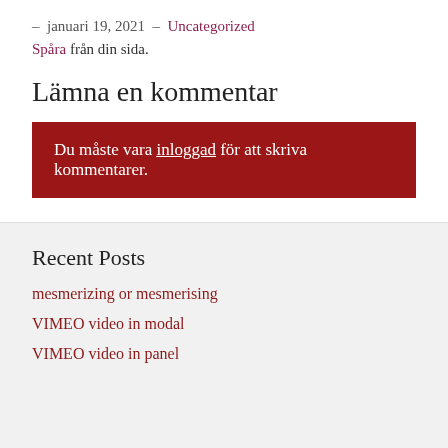– januari 19, 2021 – Uncategorized Spåra från din sida.
Lämna en kommentar
Du måste vara inloggad för att skriva kommentarer.
Recent Posts
mesmerizing or mesmerising
VIMEO video in modal
VIMEO video in panel